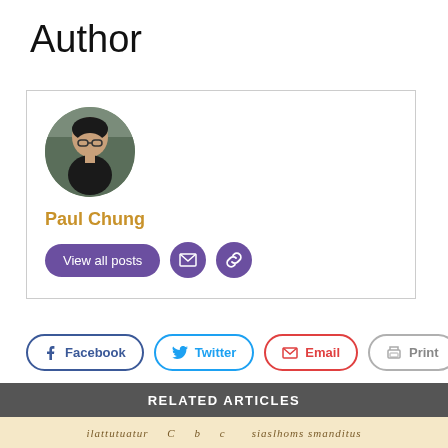Author
[Figure (other): Author card with circular headshot photo of Paul Chung, author name in gold, and buttons: 'View all posts', email icon button, link icon button]
Paul Chung
[Figure (other): Social share bar with Facebook, Twitter, Email, and Print buttons]
RELATED ARTICLES
[Figure (other): Partial view of a manuscript/historical document image at the bottom of the page]